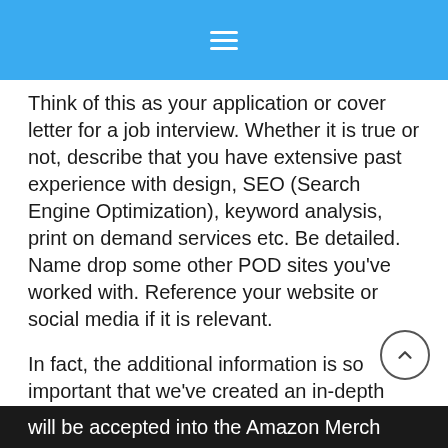≡
Think of this as your application or cover letter for a job interview. Whether it is true or not, describe that you have extensive past experience with design, SEO (Search Engine Optimization), keyword analysis, print on demand services etc. Be detailed. Name drop some other POD sites you've worked with. Reference your website or social media if it is relevant.
In fact, the additional information is so important that we've created an in-depth article containing examples of exactly what to write for your Amazon Merch additional info/cover letter.
Then, you just need to wait. Your application will be reviewed and in a matter of days, up to a few weeks, will be accepted into the Amazon Merch